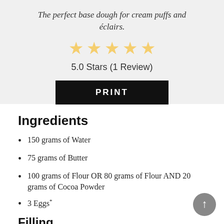The perfect base dough for cream puffs and éclairs.
[Figure (other): 5 gold/yellow star rating icons]
5.0 Stars (1 Review)
PRINT
Ingredients
150 grams of Water
75 grams of Butter
100 grams of Flour OR 80 grams of Flour AND 20 grams of Cocoa Powder
3 Eggs*
Filling